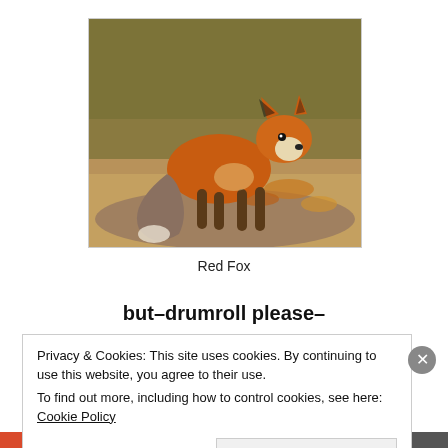[Figure (photo): A red fox standing on a dirt path, looking toward the camera, with autumn leaves and dried grass in the background.]
Red Fox
but–drumroll please–
Privacy & Cookies: This site uses cookies. By continuing to use this website, you agree to their use.
To find out more, including how to control cookies, see here: Cookie Policy
Close and accept